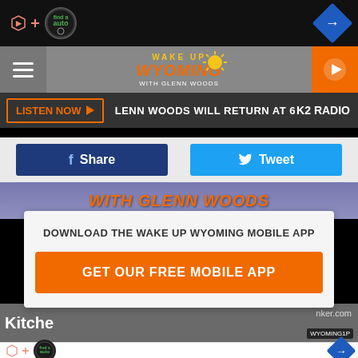[Figure (screenshot): Top black ad bar with TrueCar auto logo badge and blue diamond navigation icon]
Wake Up Wyoming with Glenn Woods – radio station website header with hamburger menu, logo, and play button
LISTEN NOW · GLENN WOODS WILL RETURN AT 6:00 AM · K2 RADIO
[Figure (screenshot): Facebook Share button (dark blue) and Twitter Tweet button (light blue)]
WITH GLENN WOODS
DOWNLOAD THE WAKE UP WYOMING MOBILE APP
GET OUR FREE MOBILE APP
[Figure (screenshot): Bottom photo strip showing partial kitchen image with nker.com text and WYOMING1P watermark]
Kitche… — bottom ad bar with TrueCar logo and blue diamond icon